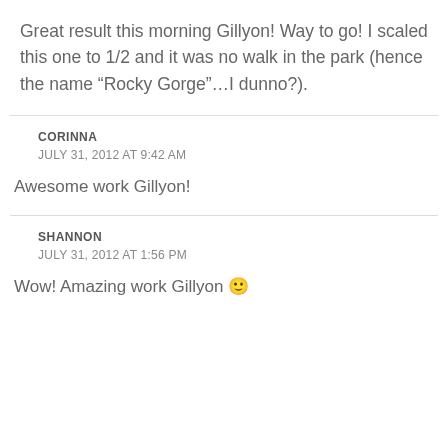Great result this morning Gillyon! Way to go! I scaled this one to 1/2 and it was no walk in the park (hence the name “Rocky Gorge”…I dunno?).
CORINNA
JULY 31, 2012 AT 9:42 AM
Awesome work Gillyon!
SHANNON
JULY 31, 2012 AT 1:56 PM
Wow! Amazing work Gillyon 🙂